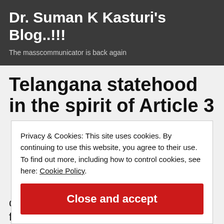Dr. Suman K Kasturi's Blog..!!!
The masscommunicator is back again
Telangana statehood in the spirit of Article 3
Privacy & Cookies: This site uses cookies. By continuing to use this website, you agree to their use. To find out more, including how to control cookies, see here: Cookie Policy
Close and accept
document that delineates defining fundamental